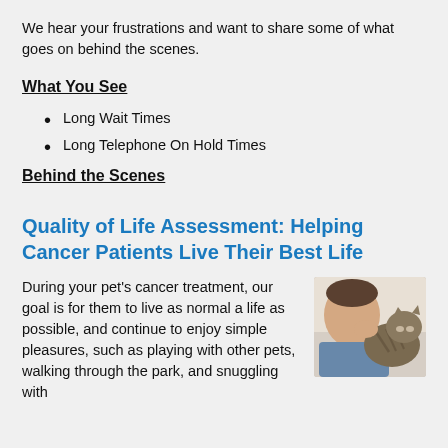We hear your frustrations and want to share some of what goes on behind the scenes.
What You See
Long Wait Times
Long Telephone On Hold Times
Behind the Scenes
Quality of Life Assessment: Helping Cancer Patients Live Their Best Life
During your pet's cancer treatment, our goal is for them to live as normal a life as possible, and continue to enjoy simple pleasures, such as playing with other pets, walking through the park, and snuggling with
[Figure (photo): Person kissing or nuzzling a cat, close-up photo]